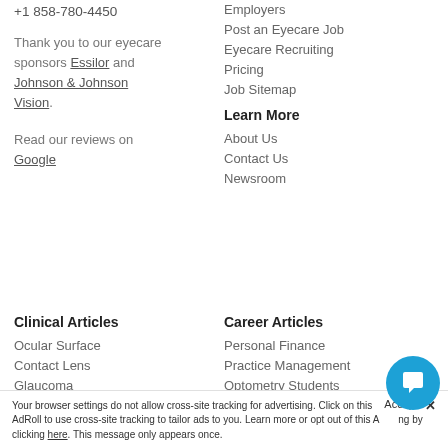+1 858-780-4450
Thank you to our eyecare sponsors Essilor and Johnson & Johnson Vision.
Read our reviews on Google
Employers
Post an Eyecare Job
Eyecare Recruiting
Pricing
Job Sitemap
Learn More
About Us
Contact Us
Newsroom
Clinical Articles
Ocular Surface
Contact Lens
Glaucoma
Retina
Neuro
Low Vision
Career Articles
Personal Finance
Practice Management
Optometry Students
New Graduate
Residency
Salary & Benefits
Accept X
Your browser settings do not allow cross-site tracking for advertising. Click on this AdRoll to use cross-site tracking to tailor ads to you. Learn more or opt out of this A ng by clicking here. This message only appears once.